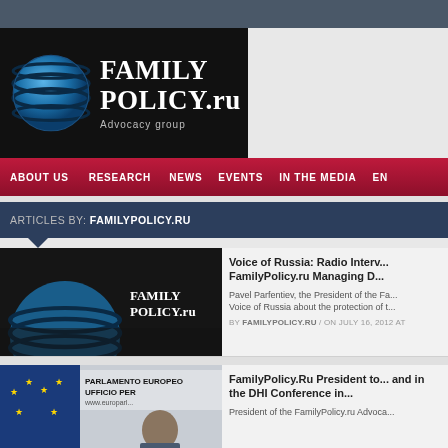[Figure (logo): FamilyPolicy.ru Advocacy group logo with globe icon on black background]
ABOUT US  RESEARCH  NEWS  EVENTS  IN THE MEDIA  EN
ARTICLES BY: FAMILYPOLICY.RU
[Figure (screenshot): Dark screenshot showing FamilyPolicy.ru logo]
Voice of Russia: Radio Interview with FamilyPolicy.ru Managing D...
Pavel Parfentiev, the President of the Fa... Voice of Russia about the protection of t...
BY FAMILYPOLICY.RU / ON JULY 16, 2012 AT
[Figure (photo): Photo at Parlamento Europeo Ufficio Per showing a person]
FamilyPolicy.Ru President to... and in the DHI Conference in...
President of the FamilyPolicy.ru Advoca...